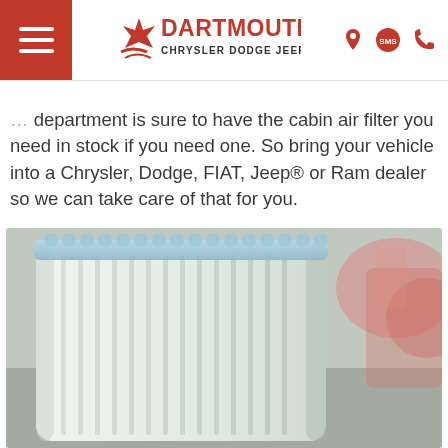Dartmouth Chrysler Dodge Jeep Ram
... our repair service center. Our parts department is sure to have the cabin air filter you need in stock if you need one. So bring your vehicle into a Chrysler, Dodge, FIAT, Jeep® or Ram dealer so we can take care of that for you.
[Figure (photo): Close-up photograph of a white pleated cabin air filter standing upright, showing the folded filter media with a light blue rubber gasket along the top edge.]